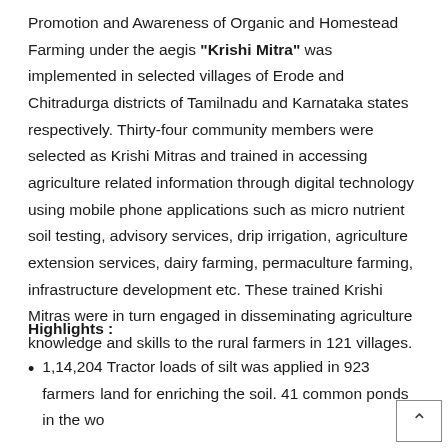Promotion and Awareness of Organic and Homestead Farming under the aegis "Krishi Mitra" was implemented in selected villages of Erode and Chitradurga districts of Tamilnadu and Karnataka states respectively. Thirty-four community members were selected as Krishi Mitras and trained in accessing agriculture related information through digital technology using mobile phone applications such as micro nutrient soil testing, advisory services, drip irrigation, agriculture extension services, dairy farming, permaculture farming, infrastructure development etc. These trained Krishi Mitras were in turn engaged in disseminating agriculture knowledge and skills to the rural farmers in 121 villages.
Highlights :
1,14,204 Tractor loads of silt was applied in 923 farmers land for enriching the soil. 41 common ponds in the wo[rking villages were desilted for conservation]